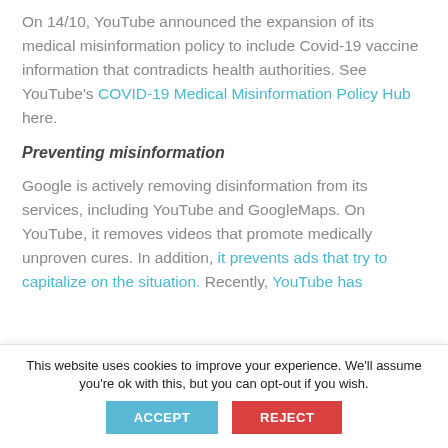On 14/10, YouTube announced the expansion of its medical misinformation policy to include Covid-19 vaccine information that contradicts health authorities. See YouTube's COVID-19 Medical Misinformation Policy Hub here.
Preventing misinformation
Google is actively removing disinformation from its services, including YouTube and GoogleMaps. On YouTube, it removes videos that promote medically unproven cures. In addition, it prevents ads that try to capitalize on the situation. Recently, YouTube has
This website uses cookies to improve your experience. We'll assume you're ok with this, but you can opt-out if you wish.